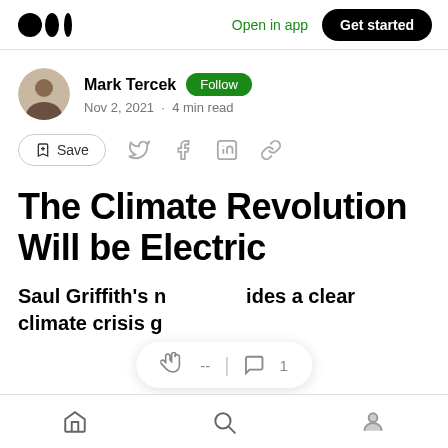Medium — Open in app · Get started
Mark Tercek · Follow · Nov 2, 2021 · 4 min read
The Climate Revolution Will be Electric
Saul Griffith's new book provides a clear climate crisis guide